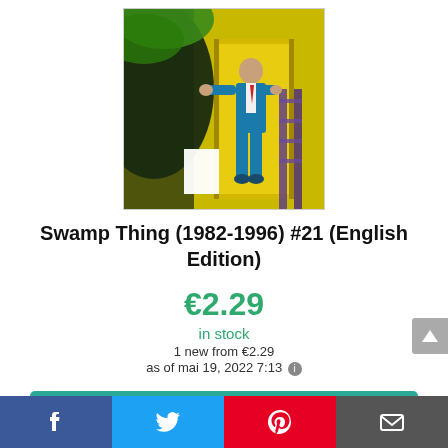[Figure (photo): Comic book cover of Swamp Thing #21, showing a man in a blue suit near a door with a shadowy swamp creature looming]
Swamp Thing (1982-1996) #21 (English Edition)
€2.29
in stock
1 new from €2.29
as of mai 19, 2022 7:13
Vérifier le prix sur Amazon
Amazon.fr